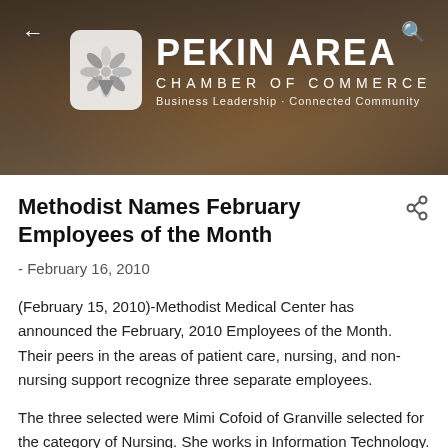[Figure (logo): Pekin Area Chamber of Commerce header banner with logo, organization name, and tagline. Back arrow on left, search icon on right.]
Methodist Names February Employees of the Month
- February 16, 2010
(February 15, 2010)-Methodist Medical Center has announced the February, 2010 Employees of the Month. Their peers in the areas of patient care, nursing, and non-nursing support recognize three separate employees.
The three selected were Mimi Cofoid of Granville selected for the category of Nursing. She works in Information Technology. Also selected was Lisa Frericks of Chillicothe for